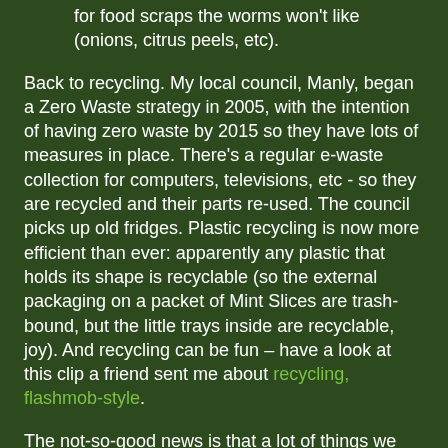for food scraps the worms won't like (onions, citrus peels, etc).
Back to recycling. My local council, Manly, began a Zero Waste strategy in 2005, with the intention of having zero waste by 2015 so they have lots of measures in place. There's a regular e-waste collection for computers, televisions, etc - so they are recycled and their parts re-used. The council picks up old fridges. Plastic recycling is now more efficient than ever: apparently any plastic that holds its shape is recyclable (so the external packaging on a packet of Mint Slices are trash-bound, but the little trays inside are recyclable, joy). And recycling can be fun – have a look at this clip a friend sent me about recycling, flashmob-style.
The not-so-good news is that a lot of things we think are being recycled are really being "downcycled": so plastic bottles get made into lower-grade plastic bottles and other things, again and again, until eventually the plastic is so low grade it can't be made into anything else and must be thrown away. And then it keeps deteriorating until it breaks into bits